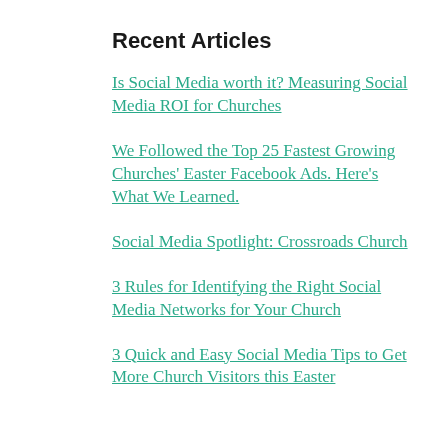Recent Articles
Is Social Media worth it? Measuring Social Media ROI for Churches
We Followed the Top 25 Fastest Growing Churches' Easter Facebook Ads. Here's What We Learned.
Social Media Spotlight: Crossroads Church
3 Rules for Identifying the Right Social Media Networks for Your Church
3 Quick and Easy Social Media Tips to Get More Church Visitors this Easter